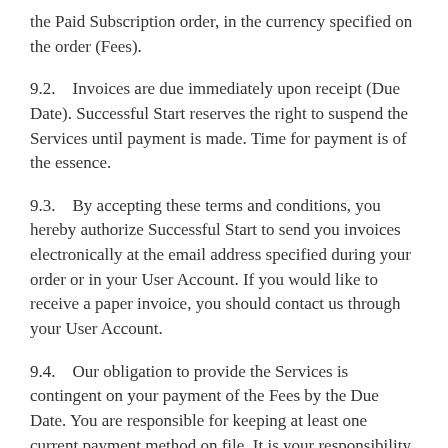the Paid Subscription order, in the currency specified on the order (Fees).
9.2.    Invoices are due immediately upon receipt (Due Date). Successful Start reserves the right to suspend the Services until payment is made. Time for payment is of the essence.
9.3.    By accepting these terms and conditions, you hereby authorize Successful Start to send you invoices electronically at the email address specified during your order or in your User Account. If you would like to receive a paper invoice, you should contact us through your User Account.
9.4.    Our obligation to provide the Services is contingent on your payment of the Fees by the Due Date. You are responsible for keeping at least one current payment method on file. It is your responsibility to ensure that we receive payment of the Fees.